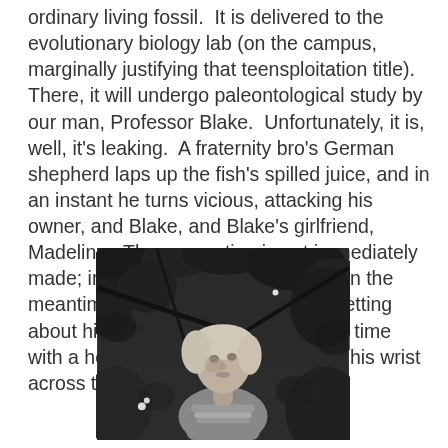ordinary living fossil.  It is delivered to the evolutionary biology lab (on the campus, marginally justifying that teensploitation title).  There, it will undergo paleontological study by our man, Professor Blake.  Unfortunately, it is, well, it's leaking.  A fraternity bro's German shepherd laps up the fish's spilled juice, and in an instant he turns vicious, attacking his owner, and Blake, and Blake's girlfriend, Madeline.  The connection is not immediately made; instead, rabies is suspected.  In the meantime, Blake, in the midst of forgetting about his lovely girlfriend and making time with a hot laboratory assistant, rakes his wrist across the dead submariner's teeth.
[Figure (photo): Black and white photograph of a young woman with light hair, looking upward, surrounded by foliage and branches, wearing a light-colored ruffled blouse]